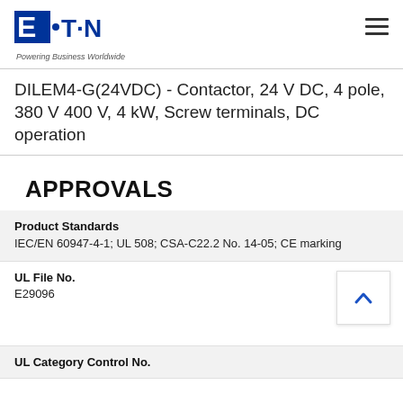Eaton - Powering Business Worldwide
DILEM4-G(24VDC) - Contactor, 24 V DC, 4 pole, 380 V 400 V, 4 kW, Screw terminals, DC operation
APPROVALS
Product Standards
IEC/EN 60947-4-1; UL 508; CSA-C22.2 No. 14-05; CE marking
UL File No.
E29096
UL Category Control No.